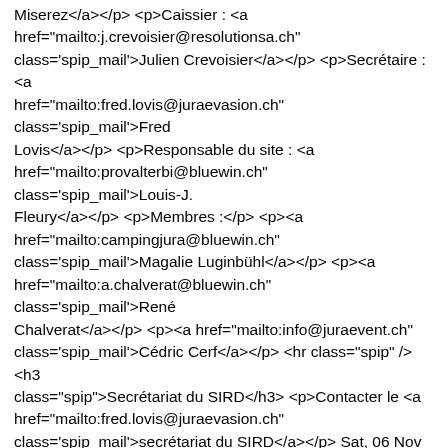Miserez</a></p> <p>Caissier : <a href="mailto:j.crevoisier@resolutionsa.ch" class='spip_mail'>Julien Crevoisier</a></p> <p>Secrétaire : <a href="mailto:fred.lovis@juraevasion.ch" class='spip_mail'>Fred Lovis</a></p> <p>Responsable du site : <a href="mailto:provalterbi@bluewin.ch" class='spip_mail'>Louis-J. Fleury</a></p> <p>Membres :</p> <p><a href="mailto:campingjura@bluewin.ch" class='spip_mail'>Magalie Luginbühl</a></p> <p><a href="mailto:a.chalverat@bluewin.ch" class='spip_mail'>René Chalverat</a></p> <p><a href="mailto:info@juraevent.ch" class='spip_mail'>Cédric Cerf</a></p> <hr class="spip" /><h3 class="spip">Secrétariat du SIRD</h3> <p>Contacter le <a href="mailto:fred.lovis@juraevasion.ch" class='spip_mail'>secrétariat du SIRD</a></p> Sat, 06 Nov 2021 08:30:00 +0100 LJFy <p>Le président : <a href="mailto:jp.miserez@bluewin.ch" class='spip_mail'>Jean-Paul Miserez</a></p> <p>Caissier : <a href="mailto:j.crevoisier@resolutionsa.ch" class='spip_mail'>Julien Crevoisier</a></p> <p>Secrétaire : <a href="mailto:fred.lovis@juraevasion.ch" class='spip_mail'>Fred Lovis</a></p> <p>Responsable du site : <a href="mailto:provalterbi@bluewin.ch" class='spip_mail'>Louis-J. Fleury</a></p> <p>Membres :</p> <p><a href="mailto:campingjura@bluewin.ch"